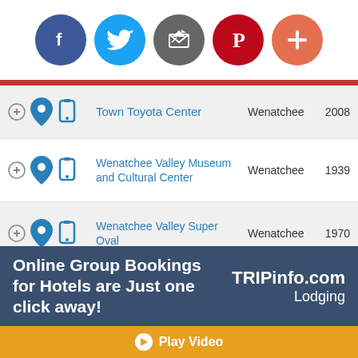[Figure (infographic): Social media sharing icons: Facebook (blue), Twitter (light blue), Email (grey), Pinterest (red), Plus/Share (orange)]
Town Toyota Center | Wenatchee | 2008
Wenatchee Valley Museum and Cultural Center | Wenatchee | 1939
Wenatchee Valley Super Oval | Wenatchee | 1970
Yakima Valley Museum & Historical Society | Yakima | 1951
Yakima Valley SunDome | Yakima | 1990
Online Group Bookings for Hotels are Just one click away!
TRIPinfo.com Lodging
Play Video